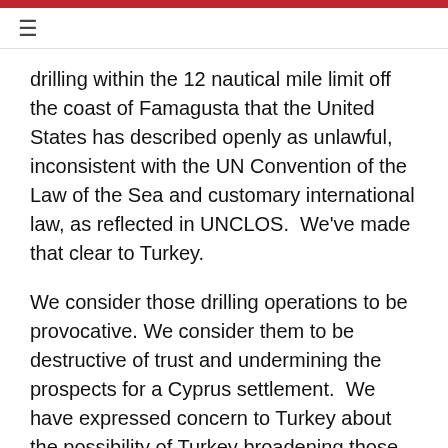≡
drilling within the 12 nautical mile limit off the coast of Famagusta that the United States has described openly as unlawful, inconsistent with the UN Convention of the Law of the Sea and customary international law, as reflected in UNCLOS.  We've made that clear to Turkey.
We consider those drilling operations to be provocative.  We consider them to be destructive of trust and undermining the prospects for a Cyprus settlement.  We have expressed concern to Turkey about the possibility of Turkey broadening those activities, including potentially into areas that Greece claims as part of its continental shelf or into the Greek EEZ, and have made clear to Turkey that we would consider that a damaging and provocative action, and we're discouraging —